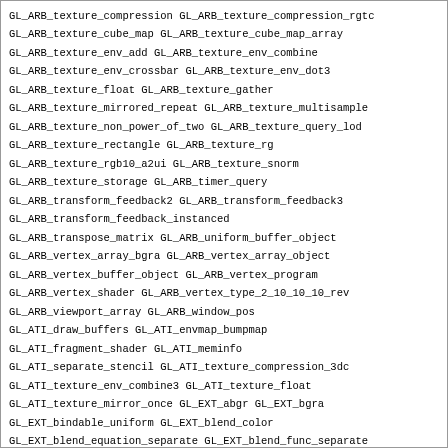GL_ARB_texture_compression GL_ARB_texture_compression_rgtc
GL_ARB_texture_cube_map GL_ARB_texture_cube_map_array
GL_ARB_texture_env_add GL_ARB_texture_env_combine
GL_ARB_texture_env_crossbar GL_ARB_texture_env_dot3
GL_ARB_texture_float GL_ARB_texture_gather
GL_ARB_texture_mirrored_repeat GL_ARB_texture_multisample
GL_ARB_texture_non_power_of_two GL_ARB_texture_query_lod
GL_ARB_texture_rectangle GL_ARB_texture_rg
GL_ARB_texture_rgb10_a2ui GL_ARB_texture_snorm
GL_ARB_texture_storage GL_ARB_timer_query
GL_ARB_transform_feedback2 GL_ARB_transform_feedback3
GL_ARB_transform_feedback_instanced
GL_ARB_transpose_matrix GL_ARB_uniform_buffer_object
GL_ARB_vertex_array_bgra GL_ARB_vertex_array_object
GL_ARB_vertex_buffer_object GL_ARB_vertex_program
GL_ARB_vertex_shader GL_ARB_vertex_type_2_10_10_10_rev
GL_ARB_viewport_array GL_ARB_window_pos
GL_ATI_draw_buffers GL_ATI_envmap_bumpmap
GL_ATI_fragment_shader GL_ATI_meminfo
GL_ATI_separate_stencil GL_ATI_texture_compression_3dc
GL_ATI_texture_env_combine3 GL_ATI_texture_float
GL_ATI_texture_mirror_once GL_EXT_abgr GL_EXT_bgra
GL_EXT_bindable_uniform GL_EXT_blend_color
GL_EXT_blend_equation_separate GL_EXT_blend_func_separate
GL_EXT_blend_minmax GL_EXT_blend_subtract
GL_EXT_compiled_vertex_array GL_EXT_copy_buffer
GL_EXT_copy_texture GL_EXT_direct_state_access
GL_EXT_draw_buffers2 GL_EXT_draw_instanced
GL_EXT_draw_range_elements GL_EXT_fog_coord
GL_EXT_framebuffer_blit GL_EXT_framebuffer_multisample
GL_EXT_framebuffer_object GL_EXT_framebuffer_sRGB
GL_EXT_geometry_shader4 GL_EXT_gpu_program_parameters
GL_EXT_gpu_shader4 GL_EXT_histogram
GL_EXT_multi_draw_arrays GL_EXT_packed_depth_stencil
GL_EXT_packed_float GL_EXT_packed_pixels
GL_EXT_pixel_buffer_object GL_EXT_point_parameters
GL_EXT_provoking_vertex GL_EXT_rescale_normal
GL_EXT_secondary_color GL_EXT_separate_specular_color
GL_EXT_shadow_funcs GL_EXT_stencil_wrap GL_EXT_subtexture
GL_EXT_texgen_reflection GL_EXT_texture3D
GL_EXT_texture_array GL_EXT_texture_buffer_object